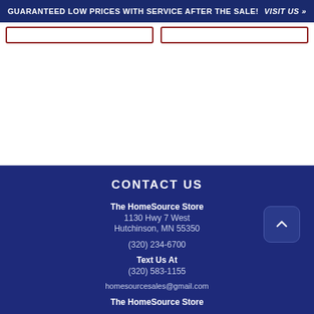GUARANTEED LOW PRICES WITH SERVICE AFTER THE SALE! VISIT US »
The HomeSource Store
1130 Hwy 7 West
Hutchinson, MN 55350
(320) 234-6700
Text Us At
(320) 583-1155
homesourcesales@gmail.com
The HomeSource Store
CONTACT US